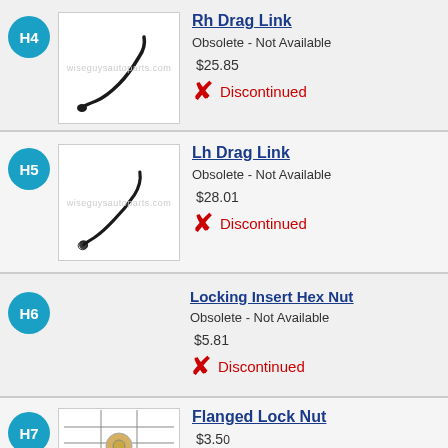H4 - Rh Drag Link - Obsolete - Not Available - $25.85 - Discontinued
H5 - Lh Drag Link - Obsolete - Not Available - $28.01 - Discontinued
H6 - Locking Insert Hex Nut - Obsolete - Not Available - $5.81 - Discontinued
H7 - Flanged Lock Nut - $3.50